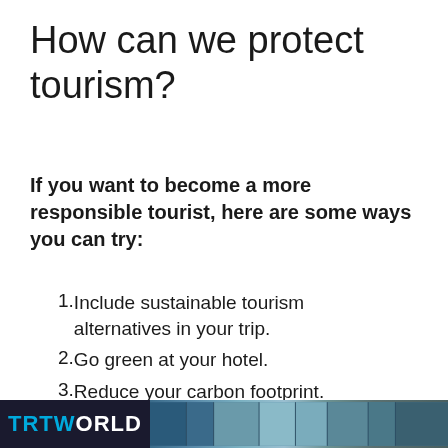How can we protect tourism?
If you want to become a more responsible tourist, here are some ways you can try:
Include sustainable tourism alternatives in your trip.
Go green at your hotel.
Reduce your carbon footprint.
Say NO to illegal trade.
Support sustainable options in island destinations.
Take care of heritage places.
[Figure (logo): TRT World logo and decorative image strip at the bottom of the page]